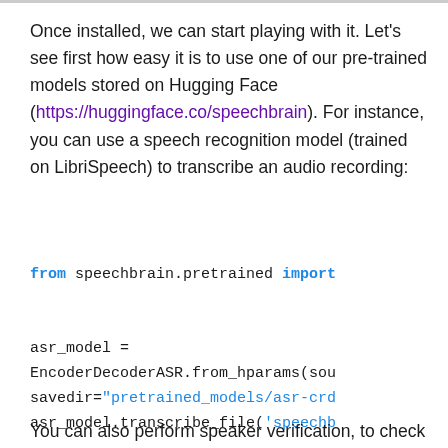Once installed, we can start playing with it. Let's see first how easy it is to use one of our pre-trained models stored on Hugging Face (https://huggingface.co/speechbrain). For instance, you can use a speech recognition model (trained on LibriSpeech) to transcribe an audio recording:
from speechbrain.pretrained import

asr_model =
EncoderDecoderASR.from_hparams(sou
savedir="pretrained_models/asr-crd
asr_model.transcribe_file('speechb
You can also perform speaker verification, to check if